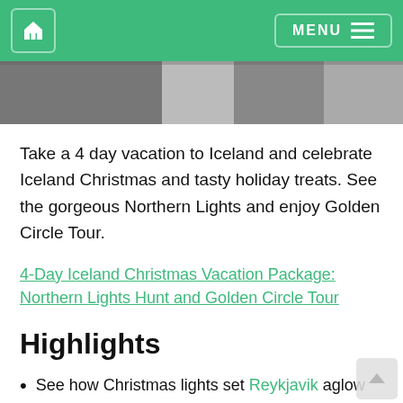Home | MENU
[Figure (photo): Partial view of an outdoor Iceland scene, black and white tones, cropped at top]
Take a 4 day vacation to Iceland and celebrate Iceland Christmas and tasty holiday treats. See the gorgeous Northern Lights and enjoy Golden Circle Tour.
4-Day Iceland Christmas Vacation Package: Northern Lights Hunt and Golden Circle Tour
Highlights
See how Christmas lights set Reykjavik aglow